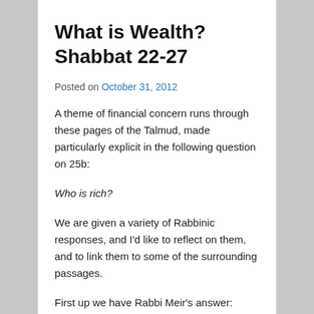What is Wealth? Shabbat 22-27
Posted on October 31, 2012
A theme of financial concern runs through these pages of the Talmud, made particularly explicit in the following question on 25b:
Who is rich?
We are given a variety of Rabbinic responses, and I'd like to reflect on them, and to link them to some of the surrounding passages.
First up we have Rabbi Meir's answer:
Whoever finds peace of spirit in his wealth.